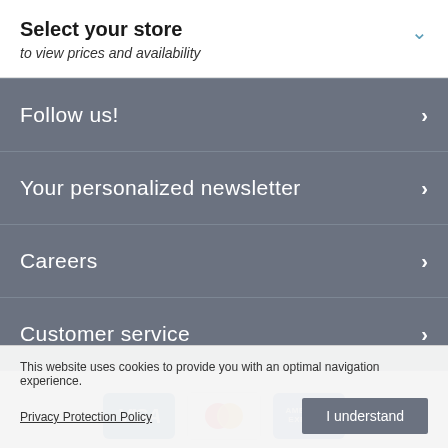Select your store
to view prices and availability
Follow us!
Your personalized newsletter
Careers
Customer service
[Figure (other): Payment method logos: Visa (blue card), Mastercard (overlapping red and orange circles), American Express (blue card)]
This website uses cookies to provide you with an optimal navigation experience.
Privacy Protection Policy
I understand